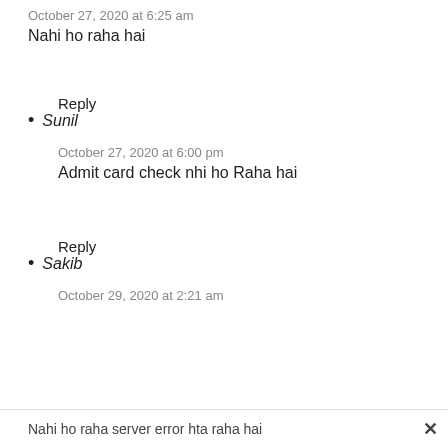Nahi ho raha hai
October 27, 2020 at 6:25 am
Nahi ho raha hai
Reply
Sunil
October 27, 2020 at 6:00 pm
Admit card check nhi ho Raha hai
Reply
Sakib
October 29, 2020 at 2:21 am
Nahi ho raha server error hta raha hai